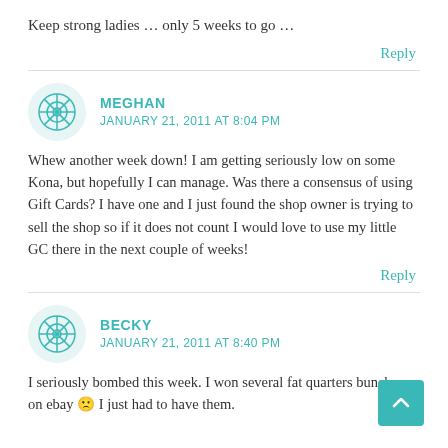Keep strong ladies … only 5 weeks to go …
Reply
MEGHAN
JANUARY 21, 2011 AT 8:04 PM
Whew another week down! I am getting seriously low on some Kona, but hopefully I can manage. Was there a consensus of using Gift Cards? I have one and I just found the shop owner is trying to sell the shop so if it does not count I would love to use my little GC there in the next couple of weeks!
Reply
BECKY
JANUARY 21, 2011 AT 8:40 PM
I seriously bombed this week. I won several fat quarters bunches on ebay 🙁 I just had to have them.